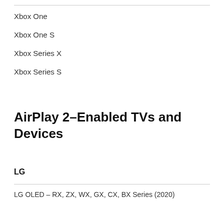Xbox One
Xbox One S
Xbox Series X
Xbox Series S
AirPlay 2–Enabled TVs and Devices
LG
LG OLED – RX, ZX, WX, GX, CX, BX Series (2020)